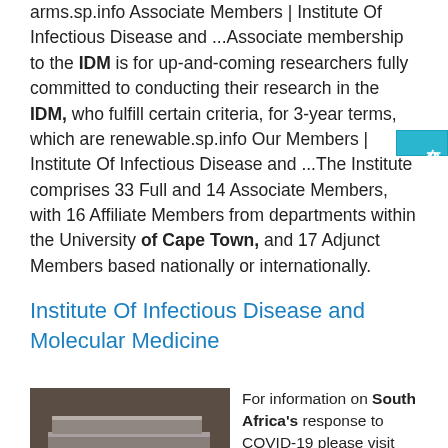arms.sp.info Associate Members | Institute Of Infectious Disease and ...Associate membership to the IDM is for up-and-coming researchers fully committed to conducting their research in the IDM, who fulfill certain criteria, for 3-year terms, which are renewable.sp.info Our Members | Institute Of Infectious Disease and ...The Institute comprises 33 Full and 14 Associate Members, with 16 Affiliate Members from departments within the University of Cape Town, and 17 Adjunct Members based nationally or internationally.
Institute Of Infectious Disease and Molecular Medicine
[Figure (photo): Stack of flat metal plates or steel sheets photographed from the side]
For information on South Africa's response to COVID-19 please visit the COVID-19 Corona Virus South African Resource Portal.sp.info IDM Members Meeting Dates